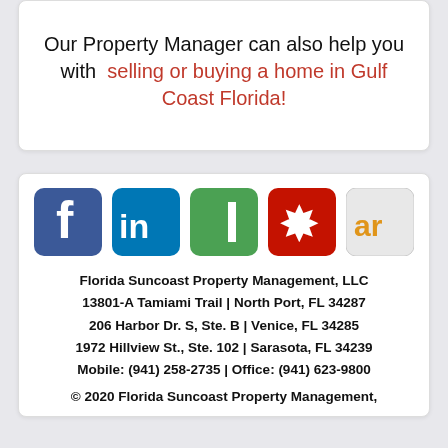Our Property Manager can also help you with selling or buying a home in Gulf Coast Florida!
[Figure (logo): Five social media icons: Facebook (blue), LinkedIn (blue), Houzz or similar (green), Yelp (red), and Angi/AR (gray with orange text)]
Florida Suncoast Property Management, LLC
13801-A Tamiami Trail | North Port, FL 34287
206 Harbor Dr. S, Ste. B | Venice, FL 34285
1972 Hillview St., Ste. 102 | Sarasota, FL 34239
Mobile: (941) 258-2735 | Office: (941) 623-9800
© 2020 Florida Suncoast Property Management,